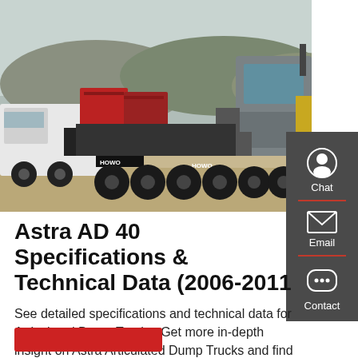[Figure (photo): Photo of HOWO articulated dump trucks / heavy tractor units in a lot with hills in background]
Astra AD 40 Specifications & Technical Data (2006-2011
See detailed specifications and technical data for Articulated Dump Trucks. Get more in-depth insight on Astra Articulated Dump Trucks and find specific machine specifications on …